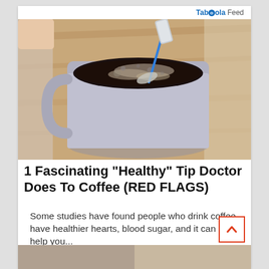Taboola Feed
[Figure (photo): A light gray ceramic coffee mug on a wooden surface, with a blue swizzle stick and what appears to be creamer or sugar being added to dark coffee, creating swirling foam on top.]
1 Fascinating "Healthy" Tip Doctor Does To Coffee (RED FLAGS)
Some studies have found people who drink coffee have healthier hearts, blood sugar, and it can even help you...
Gundry MD | Sponsored